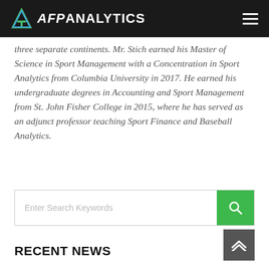AFP ANALYTICS
three separate continents. Mr. Stich earned his Master of Science in Sport Management with a Concentration in Sport Analytics from Columbia University in 2017. He earned his undergraduate degrees in Accounting and Sport Management from St. John Fisher College in 2015, where he has served as an adjunct professor teaching Sport Finance and Baseball Analytics.
RECENT NEWS